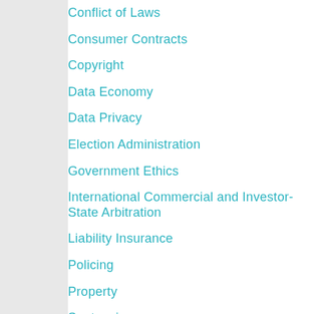Conflict of Laws
Consumer Contracts
Copyright
Data Economy
Data Privacy
Election Administration
Government Ethics
International Commercial and Investor-State Arbitration
Liability Insurance
Policing
Property
Sentencing
Sexual Assault
Student Sexual Misconduct